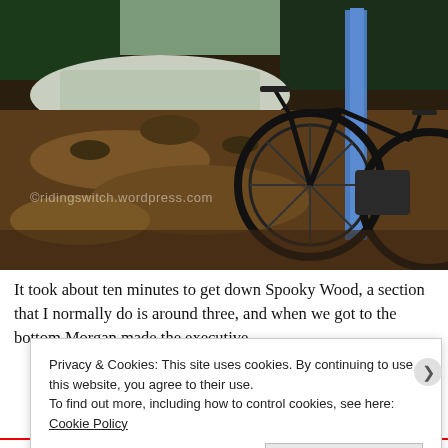[Figure (photo): Outdoor mountain biking scene: a muddy rocky trail with a stream/water channel. A mountain bike is leaning against a blue post/sign on the right side. Dense evergreen trees visible in background. Watermark reads: ©ridingswitch.wordpress.com]
It took about ten minutes to get down Spooky Wood, a section that I normally do is around three, and when we got to the bottom Morgan made the executive
Privacy & Cookies: This site uses cookies. By continuing to use this website, you agree to their use.
To find out more, including how to control cookies, see here: Cookie Policy
Close and accept